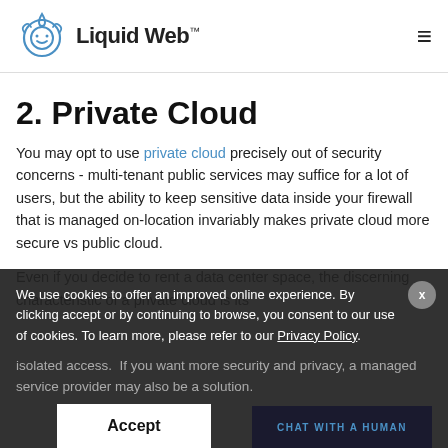Liquid Web™
2. Private Cloud
You may opt to use private cloud precisely out of security concerns - multi-tenant public services may suffice for a lot of users, but the ability to keep sensitive data inside your firewall that is managed on-location invariably makes private cloud more secure vs public cloud.
Even if you decide to rent a data center space, the discerning characteristic of a private cloud is its isolated access. If you want more security and privacy, a managed service provider may also be a solution.
We use cookies to offer an improved online experience. By clicking accept or by continuing to browse, you consent to our use of cookies. To learn more, please refer to our Privacy Policy.